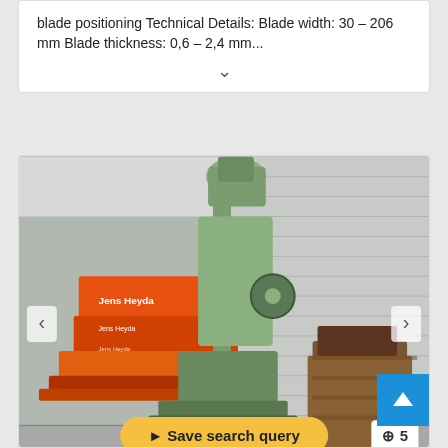blade positioning Technical Details: Blade width: 30 – 206 mm Blade thickness: 0,6 – 2,4 mm...
[Figure (photo): Industrial air forge hammer machine (ZVIL / SKODA), green metal body, photographed in a warehouse with orange scissor lifts branded 'Jens Heyda' in the background. The machine is heavy industrial forging equipment on a concrete floor.]
air forge hammer ZVIL / SKODA